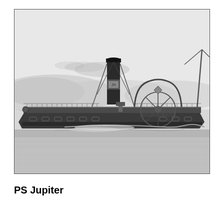[Figure (illustration): Black and white engraving/illustration of the paddle steamer PS Jupiter sailing on water. The ship has a prominent smokestack emitting smoke, a large paddle wheel visible on the side with a decorative arch, railings along the deck, and masts with rigging. Mountains or hills are visible in the background. The ship creates a wake in the water.]
PS Jupiter